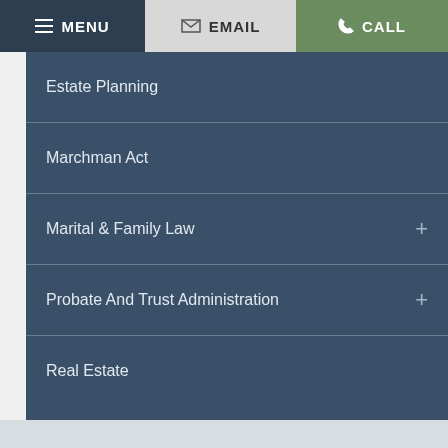MENU | EMAIL | CALL
Estate Planning
Marchman Act
Marital & Family Law
Probate And Trust Administration
Real Estate